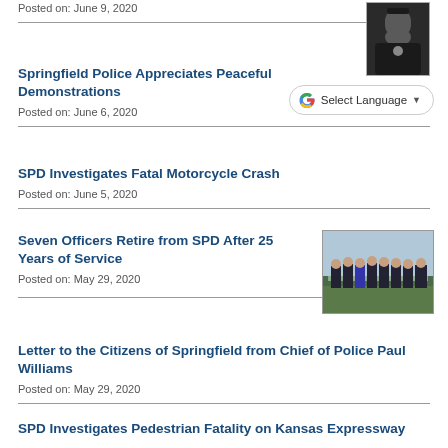Posted on: June 9, 2020
[Figure (photo): Police officer portrait photo (thumbnail)]
Springfield Police Appreciates Peaceful Demonstrations
Posted on: June 6, 2020
[Figure (screenshot): Google Translate Select Language widget]
SPD Investigates Fatal Motorcycle Crash
Posted on: June 5, 2020
Seven Officers Retire from SPD After 25 Years of Service
Posted on: May 29, 2020
[Figure (photo): Group photo of seven police officers retiring from SPD]
Letter to the Citizens of Springfield from Chief of Police Paul Williams
Posted on: May 29, 2020
SPD Investigates Pedestrian Fatality on Kansas Expressway